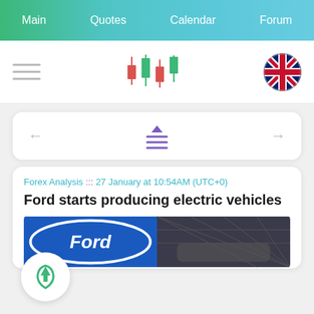Main  Quotes  Calendar  Forum
[Figure (logo): Candlestick chart logo icon with red and green bars, hamburger menu icon on left, UK flag circle on right]
[Figure (infographic): Navigation card with left arrow, chart/menu icon in center, right arrow]
Forex Analysis ::: 27 January at 10:54AM (UTC+0)
Ford starts producing electric vehicles
[Figure (photo): Ford logo on left half and electric vehicle display on right half]